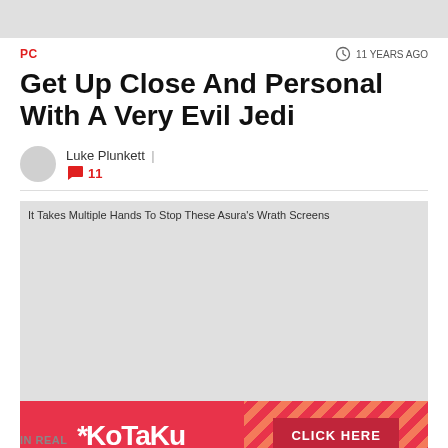[Figure (other): Top gray decorative bar]
PC
11 YEARS AGO
Get Up Close And Personal With A Very Evil Jedi
Luke Plunkett  |  11
[Figure (photo): Image placeholder: It Takes Multiple Hands To Stop These Asura's Wrath Screens]
[Figure (infographic): Kotaku advertisement banner with CLICK HERE button]
IN REAL